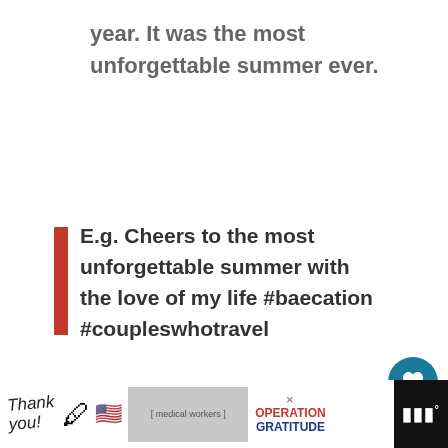year. It was the most unforgettable summer ever.
E.g. Cheers to the most unforgettable summer with the love of my life #baecation #coupleswhotravel
Words to describe summer: you spend it at home
[Figure (infographic): WHAT'S NEXT arrow label with thumbnail image and text '25 of the Best Words to...']
[Figure (photo): Advertisement banner showing 'Thank you' text with American flag imagery, medical workers, and Operation Gratitude logo]